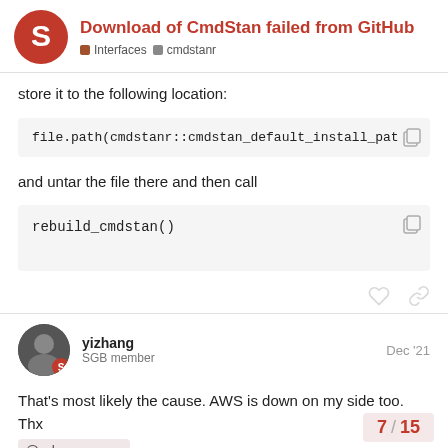Download of CmdStan failed from GitHub — Interfaces / cmdstanr
store it to the following location:
and untar the file there and then call
yizhang  SGB member  Dec '21
That's most likely the cause. AWS is down on my side too. Thx @rok_cesnovar
7 / 15